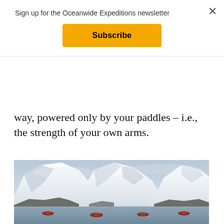Sign up for the Oceanwide Expeditions newsletter
Subscribe
way, powered only by your paddles – i.e., the strength of your own arms.
[Figure (photo): Kayakers paddling on calm water in front of large snow-covered Antarctic mountains under a hazy blue-grey sky. Four small kayaks with people are visible in the foreground on the still water, with massive glaciated peaks and rocky outcrops in the background.]